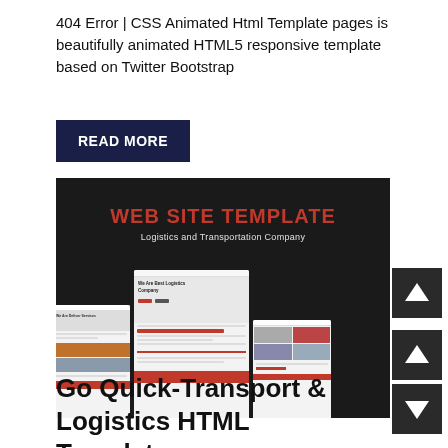404 Error | CSS Animated Html Template pages is beautifully animated HTML5 responsive template based on Twitter Bootstrap
[Figure (screenshot): Screenshot of a logistics and transportation website template showing 'WEB SITE TEMPLATE' in red on dark background, subtitle 'Logistics and Transportation Company', with multiple website page mockups displayed below]
Go Quick-Transport & Logistics HTML Template